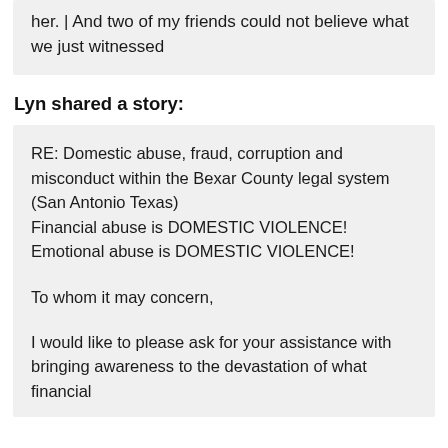her. | And two of my friends could not believe what we just witnessed
Lyn shared a story:
RE: Domestic abuse, fraud, corruption and misconduct within the Bexar County legal system (San Antonio Texas)
Financial abuse is DOMESTIC VIOLENCE!
Emotional abuse is DOMESTIC VIOLENCE!

To whom it may concern,

I would like to please ask for your assistance with bringing awareness to the devastation of what financial